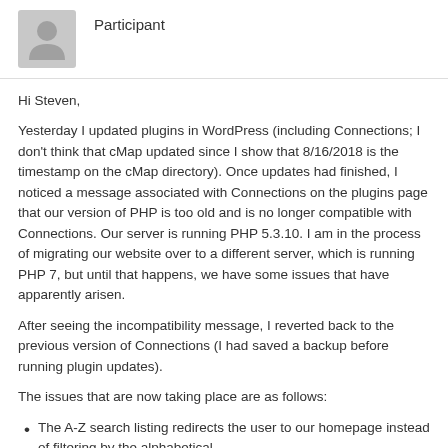[Figure (illustration): Generic user avatar silhouette in gray]
Participant
Hi Steven,
Yesterday I updated plugins in WordPress (including Connections; I don't think that cMap updated since I show that 8/16/2018 is the timestamp on the cMap directory). Once updates had finished, I noticed a message associated with Connections on the plugins page that our version of PHP is too old and is no longer compatible with Connections. Our server is running PHP 5.3.10. I am in the process of migrating our website over to a different server, which is running PHP 7, but until that happens, we have some issues that have apparently arisen.
After seeing the incompatibility message, I reverted back to the previous version of Connections (I had saved a backup before running plugin updates).
The issues that are now taking place are as follows:
The A-Z search listing redirects the user to our homepage instead of filtering by the alphabetical